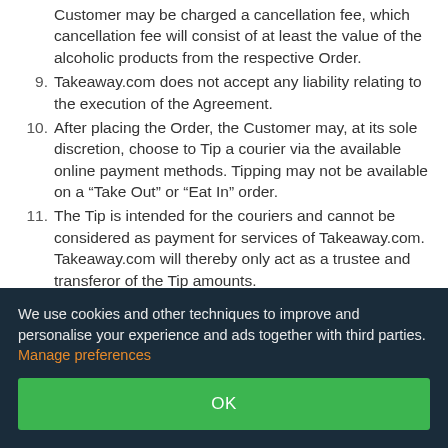Customer may be charged a cancellation fee, which cancellation fee will consist of at least the value of the alcoholic products from the respective Order.
9. Takeaway.com does not accept any liability relating to the execution of the Agreement.
10. After placing the Order, the Customer may, at its sole discretion, choose to Tip a courier via the available online payment methods. Tipping may not be available on a “Take Out” or “Eat In” order.
11. The Tip is intended for the couriers and cannot be considered as payment for services of Takeaway.com. Takeaway.com will thereby only act as a trustee and transferor of the Tip amounts.
12. Takeaway.com will transfer the Tip to the couriers in case those are directly engaged via Takeaway.com. In case a courier is not engaged via Takeaway.com but directly by the Restaurant, Takeaway.com transfers the Tip to the
We use cookies and other techniques to improve and personalise your experience and ads together with third parties. Manage preferences
OK